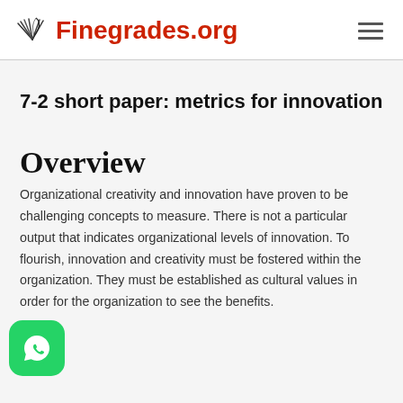Finegrades.org
7-2 short paper: metrics for innovation
Overview
Organizational creativity and innovation have proven to be challenging concepts to measure. There is not a particular output that indicates organizational levels of innovation. To flourish, innovation and creativity must be fostered within the organization. They must be established as cultural values in order for the organization to see the benefits.